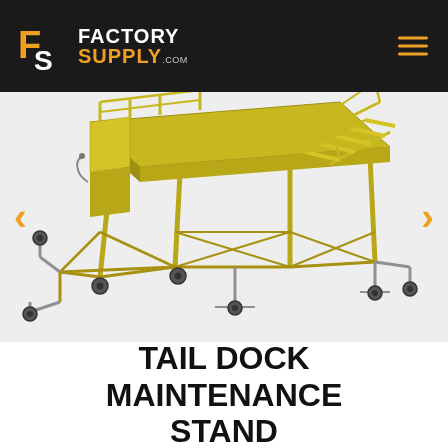Factory Supply .com
[Figure (illustration): 3D rendering of a yellow Tail Dock Maintenance Stand with platform, stairs, railings, and wheeled casters on adjustable legs]
TAIL DOCK MAINTENANCE STAND